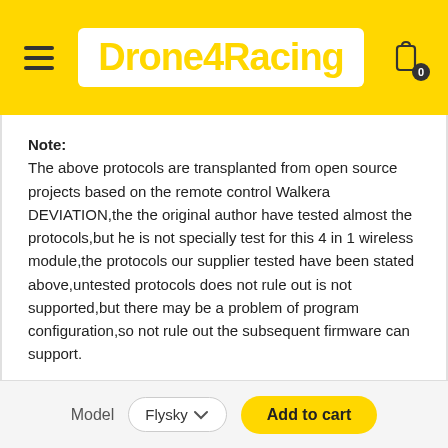Drone4Racing
Note:
The above protocols are transplanted from open source projects based on the remote control Walkera DEVIATION,the the original author have tested almost the protocols,but he is not specially test for this 4 in 1 wireless module,the protocols our supplier tested have been stated above,untested protocols does not rule out is not supported,but there may be a problem of program configuration,so not rule out the subsequent firmware can support.
Open source protocol is mostly cracked,protocol version is constantly updated,inevitably there are